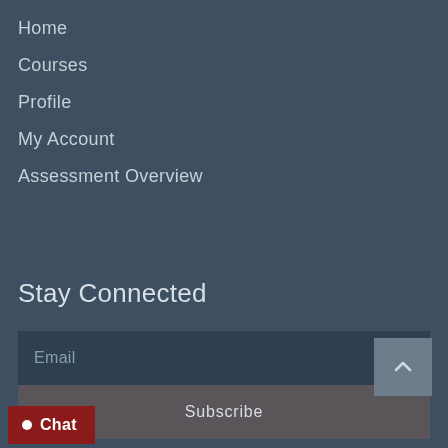Home
Courses
Profile
My Account
Assessment Overview
Stay Connected
Email
Subscribe